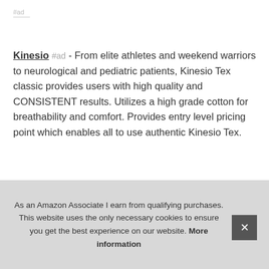#ad
Kinesio #ad - From elite athletes and weekend warriors to neurological and pediatric patients, Kinesio Tex classic provides users with high quality and CONSISTENT results. Utilizes a high grade cotton for breathability and comfort. Provides entry level pricing point which enables all to use authentic Kinesio Tex.
More information #ad
Kine... set... Ava... Hyp...
As an Amazon Associate I earn from qualifying purchases. This website uses the only necessary cookies to ensure you get the best experience on our website. More information